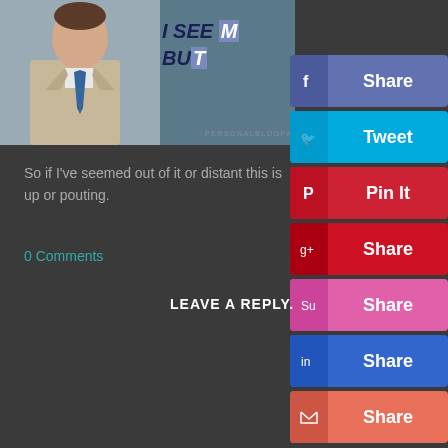[Figure (screenshot): Screenshot of a blog/social media post page featuring a man in a beige coat and dark tie with text overlay 'I SEE BU...' and social share buttons (Share, Tweet, Pin It, Share, Share, Share, Share) overlaying the right side of the image and page]
So if I've seemed out of it or distant this is
up or pouting.
0 Comments
LEAVE A REPLY.